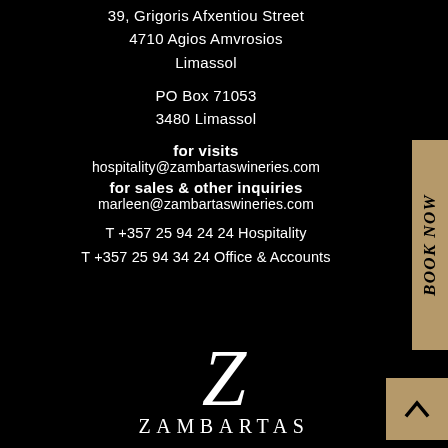39, Grigoris Afxentiou Street
4710 Agios Amvrosios
Limassol
PO Box 71053
3480 Limassol
for visits
hospitality@zambartaswineries.com
for sales & other inquiries
marleen@zambartaswineries.com
T +357 25 94 24 24 Hospitality
T +357 25 94 34 24 Office & Accounts
[Figure (logo): Zambartas Wineries logo: decorative Z script letter above the word ZAMBARTAS in serif capitals]
Book Now
[Figure (other): Scroll to top button: gold/tan square with upward-pointing chevron arrow]